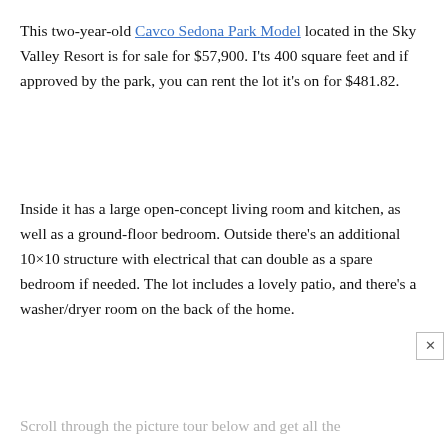This two-year-old Cavco Sedona Park Model located in the Sky Valley Resort is for sale for $57,900. I'ts 400 square feet and if approved by the park, you can rent the lot it's on for $481.82.
Inside it has a large open-concept living room and kitchen, as well as a ground-floor bedroom. Outside there's an additional 10×10 structure with electrical that can double as a spare bedroom if needed. The lot includes a lovely patio, and there's a washer/dryer room on the back of the home.
Scroll through the picture tour below and get all the